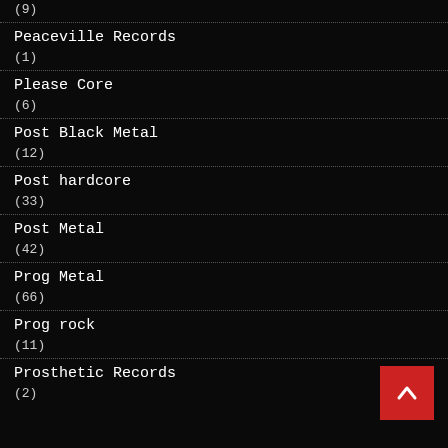(9)
Peaceville Records
(1)
Please Core
(6)
Post Black Metal
(12)
Post hardcore
(33)
Post Metal
(42)
Prog Metal
(66)
Prog rock
(11)
Prosthetic Records
(2)